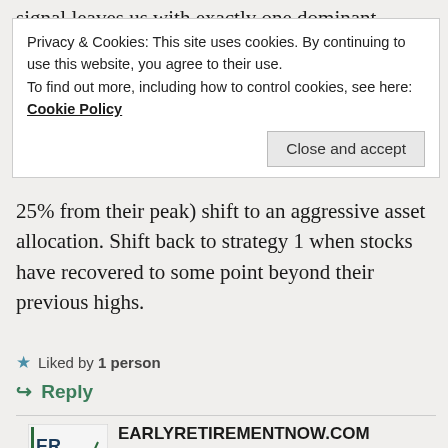signal leaves us with exactly one dominant strategy
Privacy & Cookies: This site uses cookies. By continuing to use this website, you agree to their use.
To find out more, including how to control cookies, see here: Cookie Policy
Close and accept
25% from their peak) shift to an aggressive asset allocation. Shift back to strategy 1 when stocks have recovered to some point beyond their previous highs.
Liked by 1 person
Reply
[Figure (logo): ERN Early Retirement Now logo — small square logo with ERN initials and a line graph]
EARLYRETIREMENTNOW.COM
September 18, 2019 at 5:51 pm
Nice! That would have worked really well in